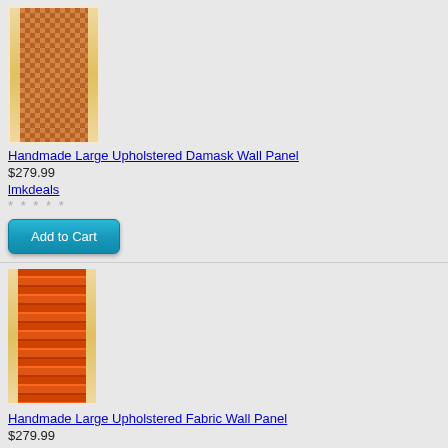[Figure (photo): Handmade upholstered damask wall panel product image showing a tall rectangular panel with brown/orange damask patterned fabric in the center and cream/gold trim on the sides]
Handmade Large Upholstered Damask Wall Panel
$279.99
lmkdeals
* * * * *
Add to Cart
[Figure (photo): Handmade upholstered fabric wall panel product image showing a tall rectangular panel with horizontal orange/red striped fabric in the center and cream/gold trim on the sides]
Handmade Large Upholstered Fabric Wall Panel
$279.99
lmkdeals